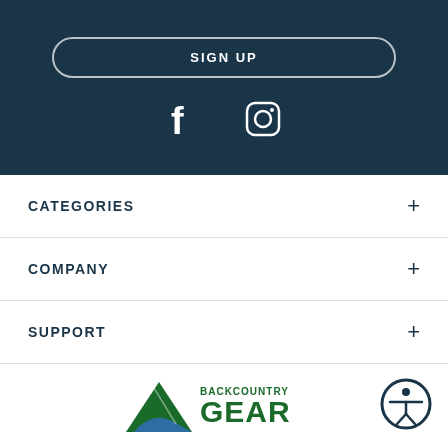[Figure (other): Sign Up button with rounded border on dark navy background with social media icons (Facebook and Instagram)]
CATEGORIES +
COMPANY +
SUPPORT +
CONTACT +
[Figure (logo): Backcountry Gear logo with green mountain/wave icon and green text]
[Figure (other): Accessibility icon - person in circle with dark navy border]